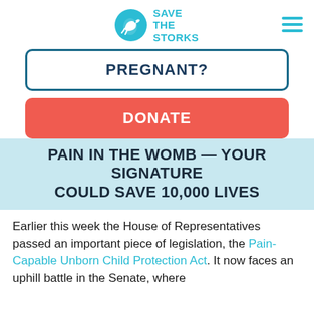[Figure (logo): Save The Storks logo with teal circle containing a bird/stork icon, and teal text reading SAVE THE STORKS]
PREGNANT?
DONATE
PAIN IN THE WOMB — YOUR SIGNATURE COULD SAVE 10,000 LIVES
Earlier this week the House of Representatives passed an important piece of legislation, the Pain-Capable Unborn Child Protection Act. It now faces an uphill battle in the Senate, where...